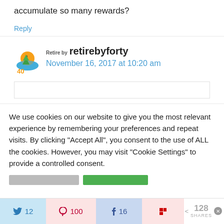accumulate so many rewards?
Reply
retirebyforty
November 16, 2017 at 10:20 am
We use cookies on our website to give you the most relevant experience by remembering your preferences and repeat visits. By clicking "Accept All", you consent to the use of ALL the cookies. However, you may visit "Cookie Settings" to provide a controlled consent.
12  100  16  128 SHARES